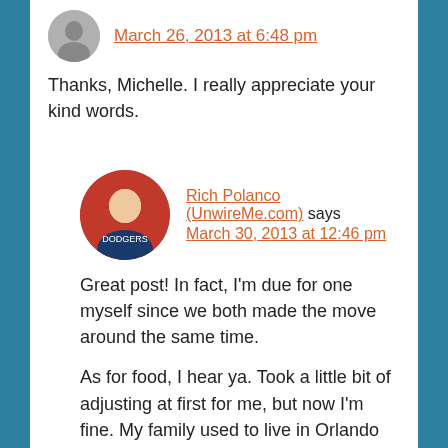March 26, 2013 at 6:48 pm
Thanks, Michelle. I really appreciate your kind words.
Rich Polanco (UnwireMe.com) says March 30, 2013 at 12:46 pm
Great post! In fact, I'm due for one myself since we both made the move around the same time.
As for food, I hear ya. Took a little bit of adjusting at first for me, but now I'm fine. My family used to live in Orlando and constantly